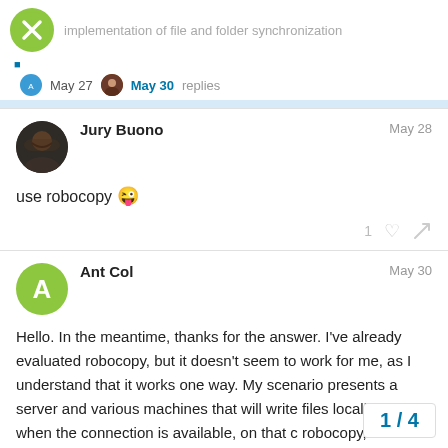implementation of file and folder synchronization
May 27  May 30  replies
Jury Buono  May 28
use robocopy 😜
Ant Col  May 30
Hello. In the meantime, thanks for the answer. I've already evaluated robocopy, but it doesn't seem to work for me, as I understand that it works one way. My scenario presents a server and various machines that will write files locally and, when the connection is available, on that c  robocopy, I believe that, when I have files
1 / 4